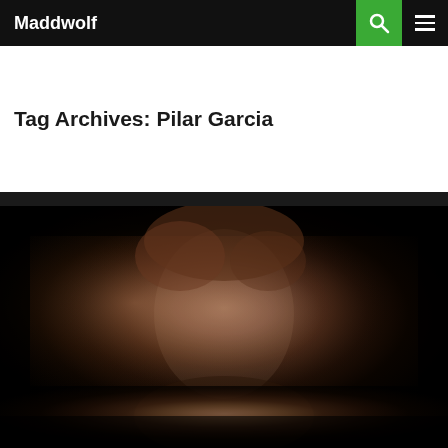Maddwolf
Tag Archives: Pilar Garcia
[Figure (photo): Film still showing a young woman with reddish hair looking distressed, dimly lit in dark cinematic style, close-up face shot]